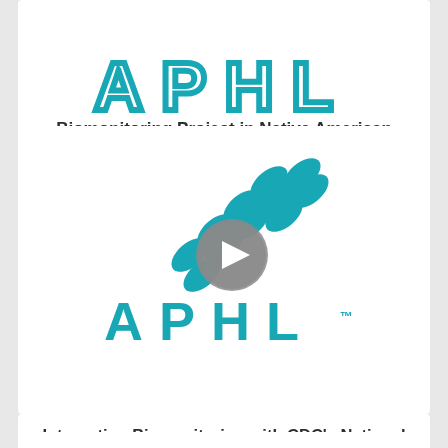[Figure (logo): APHL logo (partial, top of page) — teal dot pattern and APHL text lettering, cropped at top]
Biomonitoring Project in Native American Community Helps Protect and Inform
[Figure (logo): APHL logo with teal oval dot/bubble pattern arranged diagonally and APHL text in teal below, with a circular grey play button overlay in the center]
Integrating Biomonitoring with CDC's National Environmental Public Health Tracking Program
[Figure (logo): Partial white card visible at bottom of page]